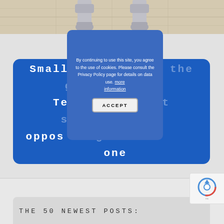[Figure (illustration): Top strip showing illustrated robot/knight legs standing on a tiled floor, partial view]
Small stickers on the ground trick Tesla autopilot steering into opposing lane
By continuing to use this site, you agree to the use of cookies. Please consult the Privacy Policy page for details on data use. more information
ACCEPT
THE 50 NEWEST POSTS:
[Figure (logo): reCAPTCHA badge with circular arrow logo]